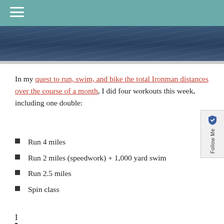≡
[Figure (photo): Dark blue water/ocean landscape photo used as hero banner image]
In my quest to run, swim, and bike the total Ironman distances over the course of a month, I did four workouts this week, including one double:
Run 4 miles
Run 2 miles (speedwork) + 1,000 yard swim
Run 2.5 miles
Spin class
I